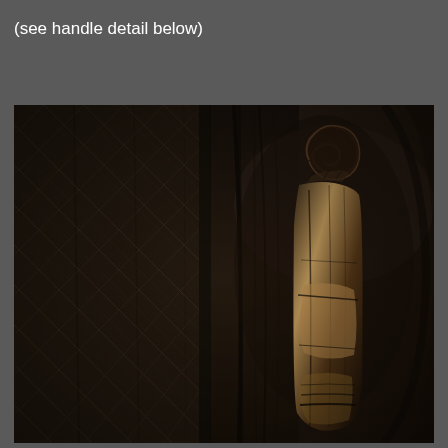(see handle detail below)
[Figure (photo): Close-up photograph of an ancient carved wooden door or panel. On the left portion, the wood features intricate geometric lattice/diamond pattern carvings in low relief. On the right portion, a dark worn wooden handle or door pull is visible, with a scroll or volute shape at the top. The wood is very dark, aged, and weathered with natural grain visible. The overall tone is dark brown and black.]